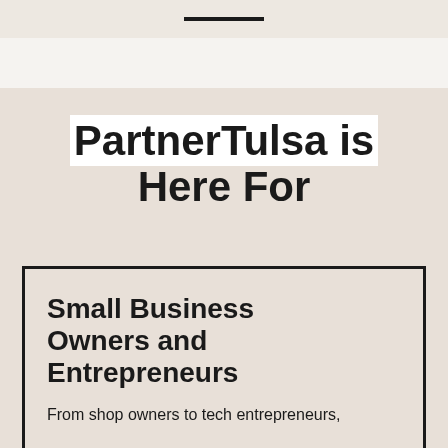PartnerTulsa is Here For
Small Business Owners and Entrepreneurs
From shop owners to tech entrepreneurs,